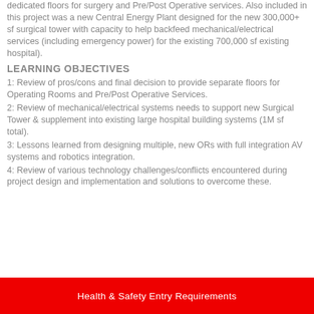dedicated floors for surgery and Pre/Post Operative services. Also included in this project was a new Central Energy Plant designed for the new 300,000+ sf surgical tower with capacity to help backfeed mechanical/electrical services (including emergency power) for the existing 700,000 sf existing hospital).
LEARNING OBJECTIVES
1: Review of pros/cons and final decision to provide separate floors for Operating Rooms and Pre/Post Operative Services.
2: Review of mechanical/electrical systems needs to support new Surgical Tower & supplement into existing large hospital building systems (1M sf total).
3: Lessons learned from designing multiple, new ORs with full integration AV systems and robotics integration.
4: Review of various technology challenges/conflicts encountered during project design and implementation and solutions to overcome these.
Health & Safety Entry Requirements